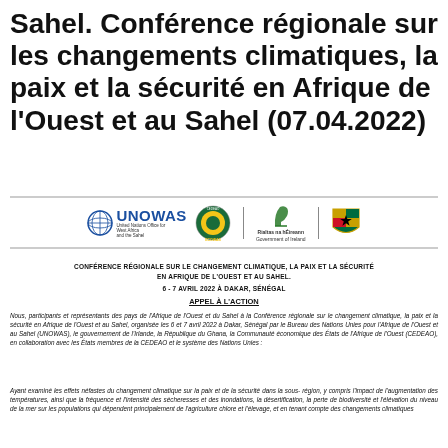Sahel. Conférence régionale sur les changements climatiques, la paix et la sécurité en Afrique de l'Ouest et au Sahel (07.04.2022)
[Figure (logo): Logos of UNOWAS, ECOWAS, Government of Ireland, and Republic of Ghana arranged horizontally with a horizontal line border]
CONFÉRENCE RÉGIONALE SUR LE CHANGEMENT CLIMATIQUE, LA PAIX ET LA SÉCURITÉ EN AFRIQUE DE L'OUEST ET AU SAHEL.
6 - 7 AVRIL 2022 À DAKAR, SÉNÉGAL
APPEL À L'ACTION
Nous, participants et représentants des pays de l'Afrique de l'Ouest et du Sahel à la Conférence régionale sur le changement climatique, la paix et la sécurité en Afrique de l'Ouest et au Sahel, organisée les 6 et 7 avril 2022 à Dakar, Sénégal par le Bureau des Nations Unies pour l'Afrique de l'Ouest et au Sahel (UNOWAS), le gouvernement de l'Irlande, la République du Ghana, la Communauté économique des États de l'Afrique de l'Ouest (CEDEAO), en collaboration avec les États membres de la CEDEAO et le système des Nations Unies :
Ayant examiné les effets néfastes du changement climatique sur la paix et de la sécurité dans la sous- région, y compris l'impact de l'augmentation des températures, ainsi que la fréquence et l'intensité des sécheresses et des inondations, la désertification, la perte de biodiversité et l'élévation du niveau de la mer sur les populations qui dépendent principalement de l'agriculture chlore et l'élevage, et en tenant compte des changements climatiques